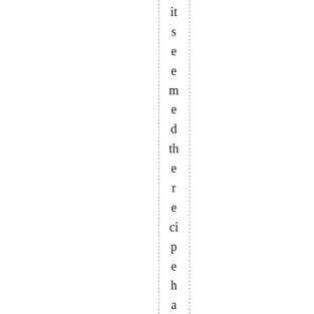it s e e m e d th e r e ci p e h a d b e e n al te r e